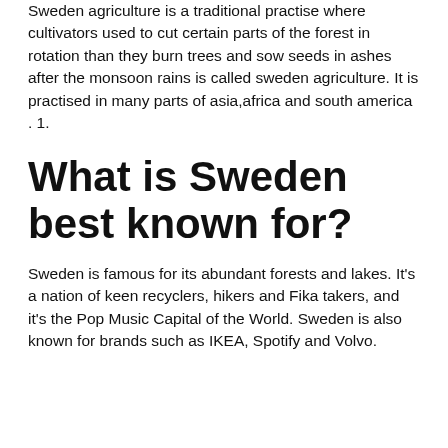Sweden agriculture is a traditional practise where cultivators used to cut certain parts of the forest in rotation than they burn trees and sow seeds in ashes after the monsoon rains is called sweden agriculture. It is practised in many parts of asia,africa and south america . 1.
What is Sweden best known for?
Sweden is famous for its abundant forests and lakes. It's a nation of keen recyclers, hikers and Fika takers, and it's the Pop Music Capital of the World. Sweden is also known for brands such as IKEA, Spotify and Volvo.